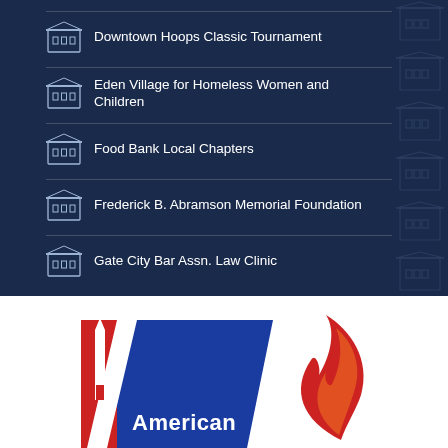Downtown Hoops Classic Tournament
Eden Village for Homeless Women and Children
Food Bank Local Chapters
Frederick B. Abramson Memorial Foundation
Gate City Bar Assn. Law Clinic
[Figure (logo): American (red, white, blue logo) and partial flame logo on white background]